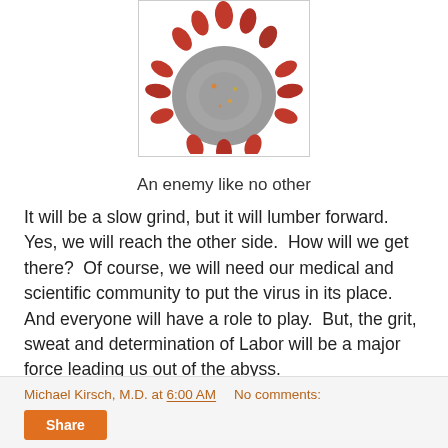[Figure (photo): Illustration of a coronavirus particle with red spike proteins on a gray spherical body, partially cropped at the top]
An enemy like no other
It will be a slow grind, but it will lumber forward.  Yes, we will reach the other side.  How will we get there?  Of course, we will need our medical and scientific community to put the virus in its place.  And everyone will have a role to play.  But, the grit, sweat and determination of Labor will be a major force leading us out of the abyss.
Michael Kirsch, M.D. at 6:00 AM    No comments:    Share